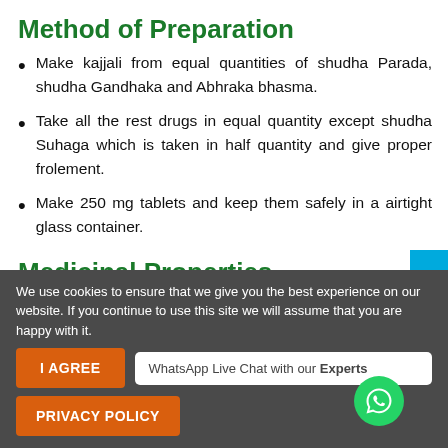Method of Preparation
Make kajjali from equal quantities of shudha Parada, shudha Gandhaka and Abhraka bhasma.
Take all the rest drugs in equal quantity except shudha Suhaga which is taken in half quantity and give proper frolement.
Make 250 mg tablets and keep them safely in a airtight glass container.
Medicinal Properties
We use cookies to ensure that we give you the best experience on our website. If you continue to use this site we will assume that you are happy with it.
WhatsApp Live Chat with our Experts
I AGREE
PRIVACY POLICY